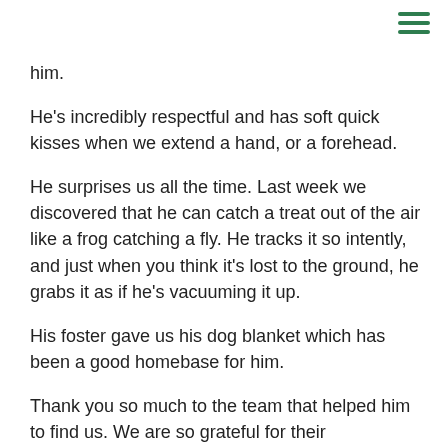him.
He's incredibly respectful and has soft quick kisses when we extend a hand, or a forehead.
He surprises us all the time. Last week we discovered that he can catch a treat out of the air like a frog catching a fly. He tracks it so intently, and just when you think it's lost to the ground, he grabs it as if he's vacuuming it up.
His foster gave us his dog blanket which has been a good homebase for him.
Thank you so much to the team that helped him to find us. We are so grateful for their professionalism and care for his wellbeing. He is 100% the right boy for us.